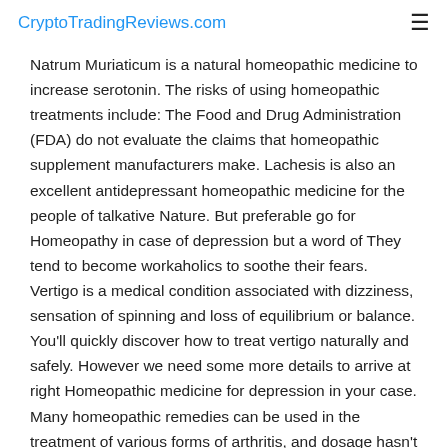CryptoTradingReviews.com
Natrum Muriaticum is a natural homeopathic medicine to increase serotonin. The risks of using homeopathic treatments include: The Food and Drug Administration (FDA) do not evaluate the claims that homeopathic supplement manufacturers make. Lachesis is also an excellent antidepressant homeopathic medicine for the people of talkative Nature. But preferable go for Homeopathy in case of depression but a word of They tend to become workaholics to soothe their fears. Vertigo is a medical condition associated with dizziness, sensation of spinning and loss of equilibrium or balance. You'll quickly discover how to treat vertigo naturally and safely. However we need some more details to arrive at right Homeopathic medicine for depression in your case. Many homeopathic remedies can be used in the treatment of various forms of arthritis, and dosage hasn't been well studied. Even when I lay down, one side seemed to cause vertigo symptoms more than the other. This is also a